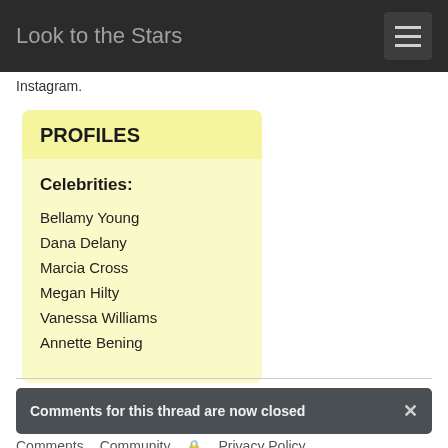Look to the Stars
Instagram.
PROFILES
Celebrities:
Bellamy Young
Dana Delany
Marcia Cross
Megan Hilty
Vanessa Williams
Annette Bening
Comments for this thread are now closed
Comments  Community  Privacy Policy